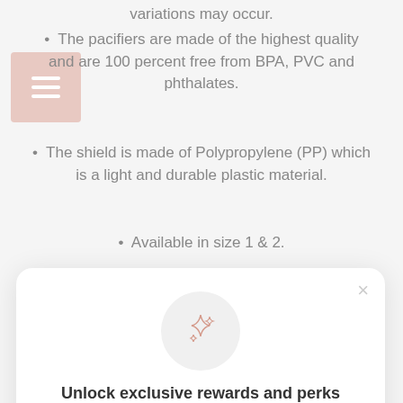variations may occur.
The pacifiers are made of the highest quality and are 100 percent free from BPA, PVC and phthalates.
The shield is made of Polypropylene (PP) which is a light and durable plastic material.
Available in size 1 & 2.
[Figure (screenshot): Modal popup dialog with sparkle icon, title 'Unlock exclusive rewards and perks', subtitle 'Sign up or Log in', a pink 'Sign up' button, and a footer 'Already have an account? Sign in']